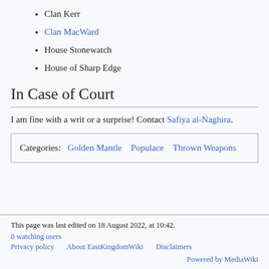Clan Kerr
Clan MacWard
House Stonewatch
House of Sharp Edge
In Case of Court
I am fine with a writ or a surprise! Contact Safiya al-Naghira.
Categories:  Golden Mantle  Populace  Thrown Weapons
This page was last edited on 18 August 2022, at 10:42.
0 watching users
Privacy policy  About EastKingdomWiki  Disclaimers
Powered by MediaWiki